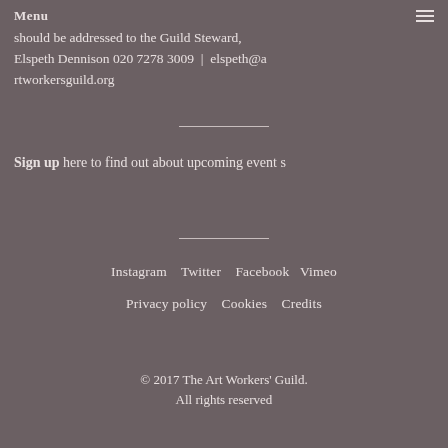Menu
should be addressed to the Guild Steward, Elspeth Dennison 020 7278 3009 | elspeth@artworkersguild.org
Sign up here to find out about upcoming events
Instagram  Twitter  Facebook  Vimeo  Privacy policy  Cookies  Credits  © 2017 The Art Workers' Guild.  All rights reserved